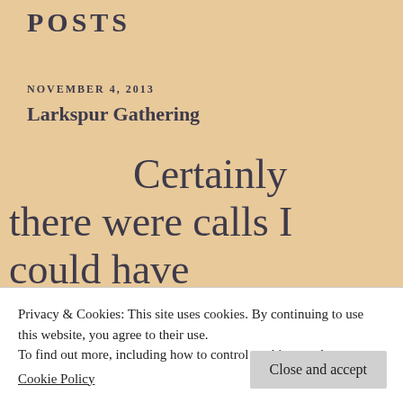POSTS
NOVEMBER 4, 2013
Larkspur Gathering
Certainly there were calls I could have made.  Long conversations I may have needed to have chose to gather Larkspu
Privacy & Cookies: This site uses cookies. By continuing to use this website, you agree to their use.
To find out more, including how to control cookies, see here:
Cookie Policy
Close and accept